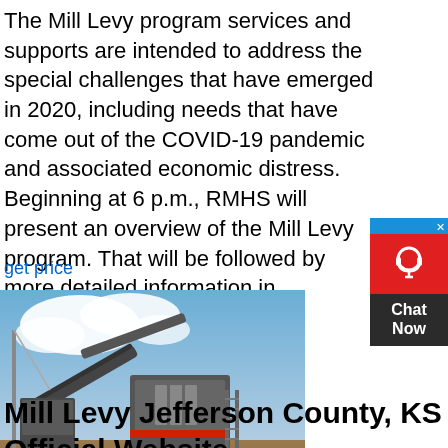The Mill Levy program services and supports are intended to address the special challenges that have emerged in 2020, including needs that have come out of the COVID-19 pandemic and associated economic distress. Beginning at 6 p.m., RMHS will present an overview of the Mill Levy program. That will be followed by more detailed information in
get price
[Figure (photo): Photo of large industrial mining/crushing machinery on a dirt lot with blue sky and clouds in the background]
Mill Levy Jefferson County, KS Official Website